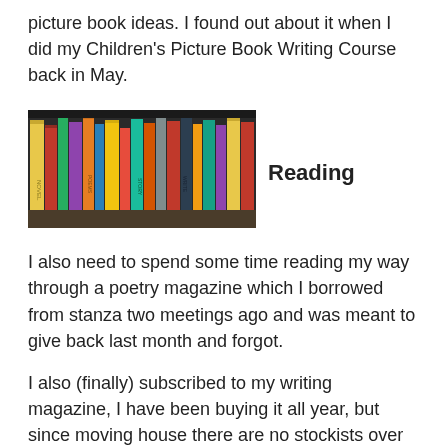picture book ideas. I found out about it when I did my Children's Picture Book Writing Course back in May.
[Figure (photo): A photograph of a bookshelf filled with colorful books of various sizes lined up side by side.]
Reading
I also need to spend some time reading my way through a poetry magazine which I borrowed from stanza two meetings ago and was meant to give back last month and forgot.
I also (finally) subscribed to my writing magazine, I have been buying it all year, but since moving house there are no stockists over here. It also saves me money. £15.00 a year, that's a poetry book, performance or a bit of petrol